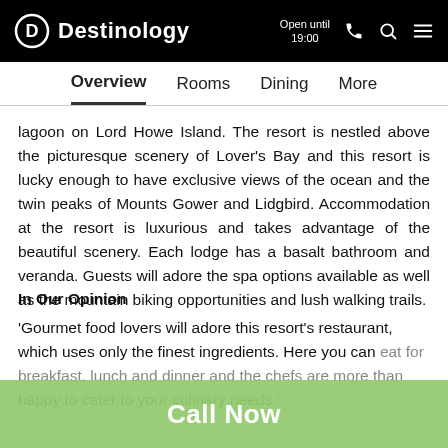Destinology | Open until 19:00
Overview  Rooms  Dining  More
lagoon on Lord Howe Island. The resort is nestled above the picturesque scenery of Lover's Bay and this resort is lucky enough to have exclusive views of the ocean and the twin peaks of Mounts Gower and Lidgbird. Accommodation at the resort is luxurious and takes advantage of the beautiful scenery. Each lodge has a basalt bathroom and veranda. Guests will adore the spa options available as well as the mountain biking opportunities and lush walking trails.
In Our Opinion
'Gourmet food lovers will adore this resort's restaurant, which uses only the finest ingredients. Here you can eat for breakfast, lunch and dinner and the chefs are more than happy to cater to your culinary needs.'